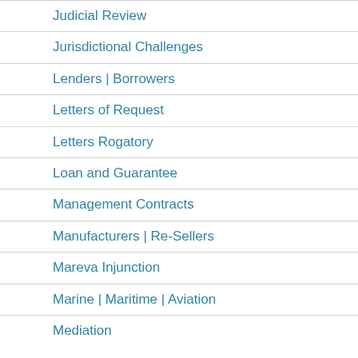Judicial Review
Jurisdictional Challenges
Lenders | Borrowers
Letters of Request
Letters Rogatory
Loan and Guarantee
Management Contracts
Manufacturers | Re-Sellers
Mareva Injunction
Marine | Maritime | Aviation
Mediation